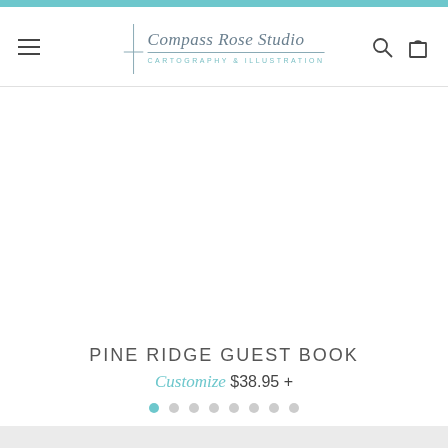Compass Rose Studio — Cartography & Illustration
[Figure (screenshot): Empty white product image area for Pine Ridge Guest Book]
PINE RIDGE GUEST BOOK
Customize $38.95 +
[Figure (other): Carousel dot indicators: 8 dots, first one active (teal), remaining 7 grey]